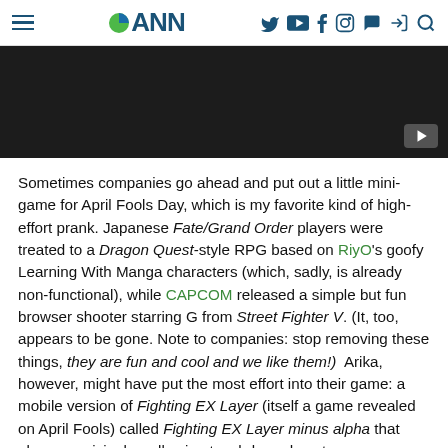ANN navigation header with menu, logo, and social icons
[Figure (screenshot): Dark video player placeholder with YouTube play button in bottom-right corner]
Sometimes companies go ahead and put out a little mini-game for April Fools Day, which is my favorite kind of high-effort prank. Japanese Fate/Grand Order players were treated to a Dragon Quest-style RPG based on RiyO's goofy Learning With Manga characters (which, sadly, is already non-functional), while CAPCOM released a simple but fun browser shooter starring G from Street Fighter V. (It, too, appears to be gone. Note to companies: stop removing these things, they are fun and cool and we like them!)  Arika, however, might have put the most effort into their game: a mobile version of Fighting EX Layer (itself a game revealed on April Fools) called Fighting EX Layer minus alpha that plays surprisingly well using touch-based gestures.
But not everyone is fooling on the First of April, as we shall